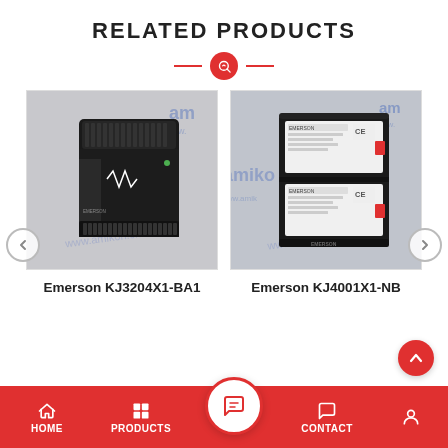RELATED PRODUCTS
[Figure (photo): Emerson KJ3204X1-BA1 industrial control module, black casing with connector strips, placed on surface with amikon.cn branding]
Emerson KJ3204X1-BA1
[Figure (photo): Emerson KJ4001X1-NB industrial control module, two white label cards in black enclosure, placed on surface with amikon.cn branding]
Emerson KJ4001X1-NB
HOME   PRODUCTS   CONTACT